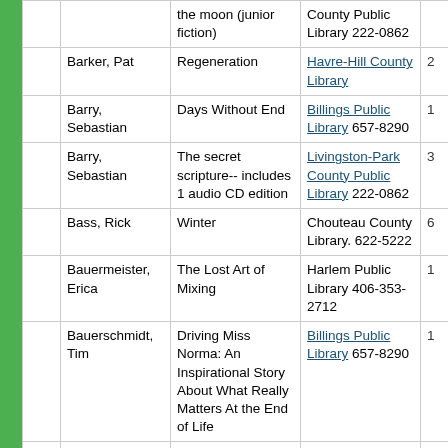|  | Author | Title | Library |  |
| --- | --- | --- | --- | --- |
|  |  | the moon (junior fiction) | County Public Library 222-0862 |  |
|  | Barker, Pat | Regeneration | Havre-Hill County Library | 2 |
|  | Barry, Sebastian | Days Without End | Billings Public Library 657-8290 | 1 |
|  | Barry, Sebastian | The secret scripture-- includes 1 audio CD edition | Livingston-Park County Public Library 222-0862 | 3 |
|  | Bass, Rick | Winter | Chouteau County Library. 622-5222 | 6 |
|  | Bauermeister, Erica | The Lost Art of Mixing | Harlem Public Library 406-353-2712 | 1 |
|  | Bauerschmidt, Tim | Driving Miss Norma: An Inspirational Story About What Really Matters At the End of Life | Billings Public Library 657-8290 | 1 |
|  | Baum, L. Frank | The Wonderful Wizard of Oz | Havre-Hill County Library | 2 |
|  | Bech, Ishmael | A Long Way Gone | Livingston-Park | 4 |